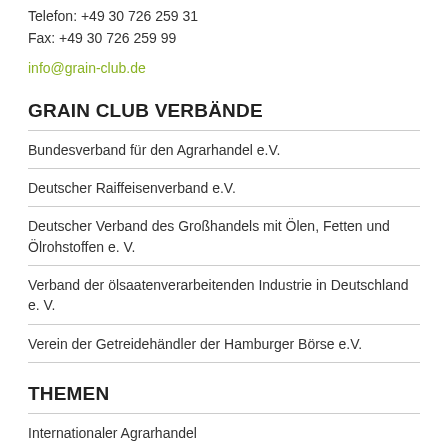Telefon: +49 30 726 259 31
Fax: +49 30 726 259 99
info@grain-club.de
GRAIN CLUB VERBÄNDE
Bundesverband für den Agrarhandel e.V.
Deutscher Raiffeisenverband e.V.
Deutscher Verband des Großhandels mit Ölen, Fetten und Ölrohstoffen e. V.
Verband der ölsaatenverarbeitenden Industrie in Deutschland e. V.
Verein der Getreidehändler der Hamburger Börse e.V.
THEMEN
Internationaler Agrarhandel
Nachhaltigkeit
Grüne Zukunftstechnologien